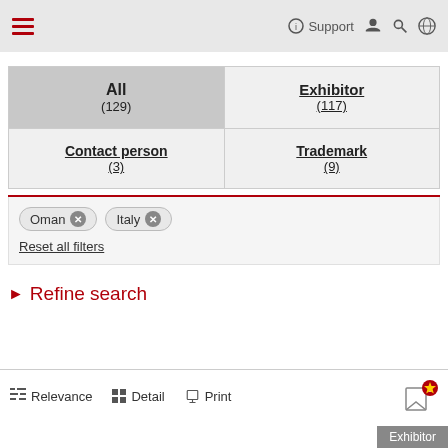≡   ⓘ Support  👤  🔍  🌐
| All
(129) | Exhibitor
(117) |
| Contact person
(3) | Trademark
(9) |
Oman ✕   Italy ✕
Reset all filters
▶ Refine search
Relevance   Detail   Print
0★
Exhibitor